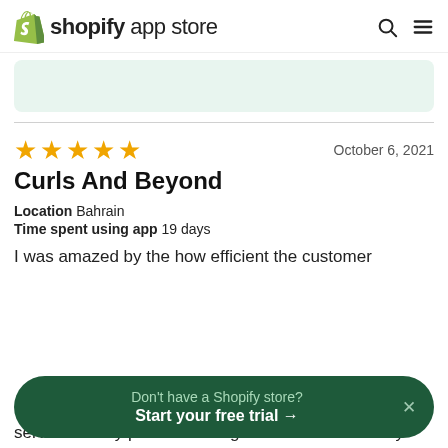shopify app store
[Figure (screenshot): Partially visible green card/banner at the top of the page]
★★★★★  October 6, 2021
Curls And Beyond
Location  Bahrain
Time spent using app  19 days
I was amazed by the how efficient the customer services! They provide clear guidance and solve my
Don't have a Shopify store?
Start your free trial →